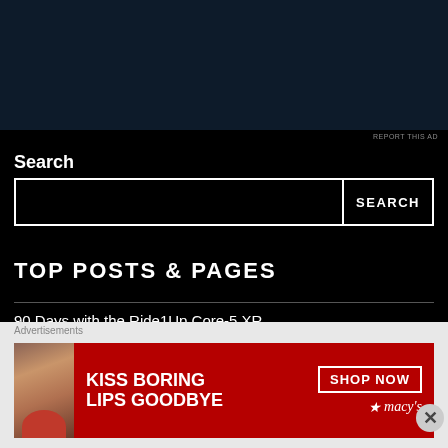[Figure (other): Dark blue/black advertisement banner at the top of the page]
REPORT THIS AD
Search
[Figure (other): Search input box and SEARCH button]
TOP POSTS & PAGES
90 Days with the Ride1Up Core-5 XR
Synca Hisho Massage Chair
Advertisements
[Figure (other): Macy's advertisement banner: KISS BORING LIPS GOODBYE with SHOP NOW button and macy's logo, woman's face with red lips visible]